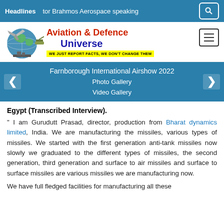Headlines | tor Brahmos Aerospace speaking
[Figure (logo): Aviation & Defence Universe logo with globe, aircraft, tank, and ship illustration. Tagline: WE JUST REPORT FACTS, WE DON'T CHANGE THEM]
[Figure (screenshot): Slider navigation bar: Farnborough International Airshow 2022 / Photo Gallery / Video Gallery]
Egypt (Transcribed Interview).
" I am Gurudutt Prasad, director, production from Bharat dynamics limited, India. We are manufacturing the missiles, various types of missiles. We started with the first generation anti-tank missiles now slowly we graduated to the different types of missiles, the second generation, third generation and surface to air missiles and surface to surface missiles are various missiles we are manufacturing now.
We have full fledged facilities for manufacturing all these